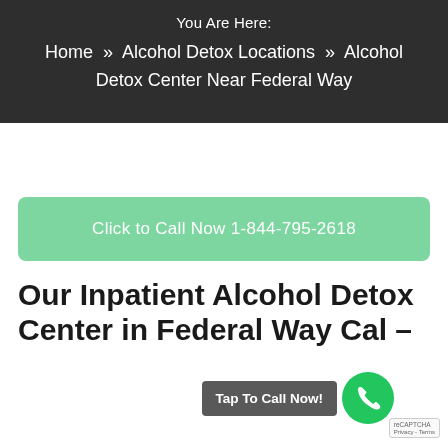You Are Here:
Home » Alcohol Detox Locations » Alcohol Detox Center Near Federal Way
Click to Call Now 1-844-795-2618
Our Inpatient Alcohol Detox Center in Federal Way Cal –
Tap To Call Now!